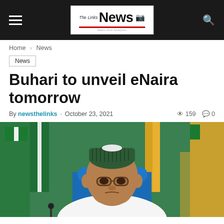The Links News
Home > News
News
Buhari to unveil eNaira tomorrow
By newsthelinks - October 23, 2021  159  0
[Figure (photo): President Buhari seated in blue chair wearing white garment and green cap, with flags in background]